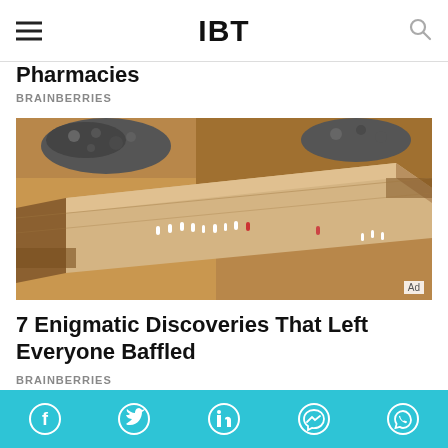IBT
Pharmacies
BRAINBERRIES
[Figure (photo): Aerial view of an archaeological excavation site showing large stone blocks and workers, warm sandy tones with people visible on a walkway between excavated trenches.]
7 Enigmatic Discoveries That Left Everyone Baffled
BRAINBERRIES
Social share bar with Facebook, Twitter, LinkedIn, Messenger, WhatsApp icons